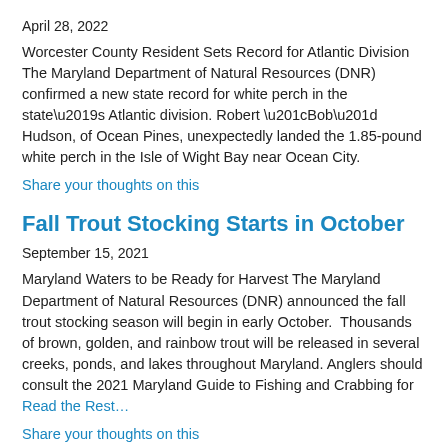April 28, 2022
Worcester County Resident Sets Record for Atlantic Division The Maryland Department of Natural Resources (DNR) confirmed a new state record for white perch in the state’s Atlantic division. Robert “Bob” Hudson, of Ocean Pines, unexpectedly landed the 1.85-pound white perch in the Isle of Wight Bay near Ocean City.
Share your thoughts on this
Fall Trout Stocking Starts in October
September 15, 2021
Maryland Waters to be Ready for Harvest The Maryland Department of Natural Resources (DNR) announced the fall trout stocking season will begin in early October.  Thousands of brown, golden, and rainbow trout will be released in several creeks, ponds, and lakes throughout Maryland. Anglers should consult the 2021 Maryland Guide to Fishing and Crabbing for  Read the Rest…
Share your thoughts on this